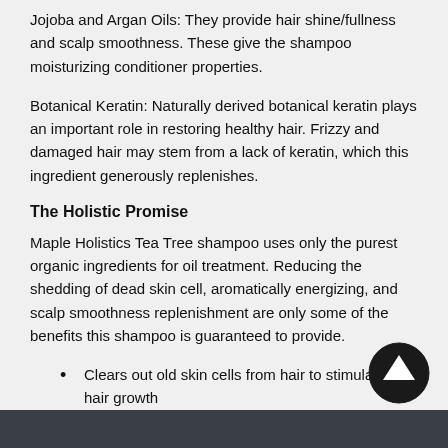Jojoba and Argan Oils: They provide hair shine/fullness and scalp smoothness. These give the shampoo moisturizing conditioner properties.
Botanical Keratin: Naturally derived botanical keratin plays an important role in restoring healthy hair. Frizzy and damaged hair may stem from a lack of keratin, which this ingredient generously replenishes.
The Holistic Promise
Maple Holistics Tea Tree shampoo uses only the purest organic ingredients for oil treatment. Reducing the shedding of dead skin cell, aromatically energizing, and scalp smoothness replenishment are only some of the benefits this shampoo is guaranteed to provide.
Clears out old skin cells from hair to stimulate new hair growth
SLS free, Organic, and preservative-free formula